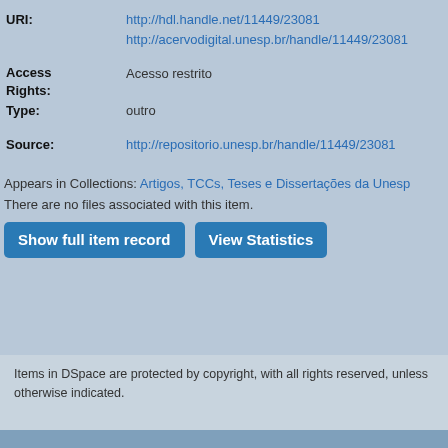| Field | Value |
| --- | --- |
| URI: | http://hdl.handle.net/11449/23081
http://acervodigital.unesp.br/handle/11449/23081 |
| Access Rights: | Acesso restrito |
| Type: | outro |
| Source: | http://repositorio.unesp.br/handle/11449/23081 |
Appears in Collections: Artigos, TCCs, Teses e Dissertações da Unesp
There are no files associated with this item.
Show full item record    View Statistics
Items in DSpace are protected by copyright, with all rights reserved, unless otherwise indicated.